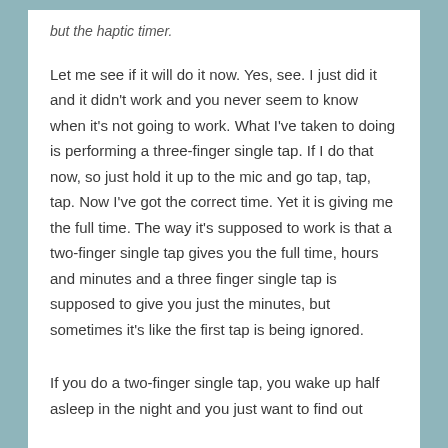but the haptic timer.
Let me see if it will do it now. Yes, see. I just did it and it didn't work and you never seem to know when it's not going to work. What I've taken to doing is performing a three-finger single tap. If I do that now, so just hold it up to the mic and go tap, tap, tap. Now I've got the correct time. Yet it is giving me the full time. The way it's supposed to work is that a two-finger single tap gives you the full time, hours and minutes and a three finger single tap is supposed to give you just the minutes, but sometimes it's like the first tap is being ignored.
If you do a two-finger single tap, you wake up half asleep in the night and you just want to find out